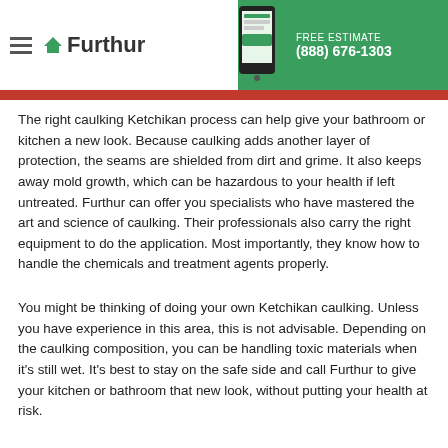Furthur | FREE ESTIMATE (888) 676-1303
The right caulking Ketchikan process can help give your bathroom or kitchen a new look. Because caulking adds another layer of protection, the seams are shielded from dirt and grime. It also keeps away mold growth, which can be hazardous to your health if left untreated. Furthur can offer you specialists who have mastered the art and science of caulking. Their professionals also carry the right equipment to do the application. Most importantly, they know how to handle the chemicals and treatment agents properly.
You might be thinking of doing your own Ketchikan caulking. Unless you have experience in this area, this is not advisable. Depending on the caulking composition, you can be handling toxic materials when it's still wet. It's best to stay on the safe side and call Furthur to give your kitchen or bathroom that new look, without putting your health at risk.